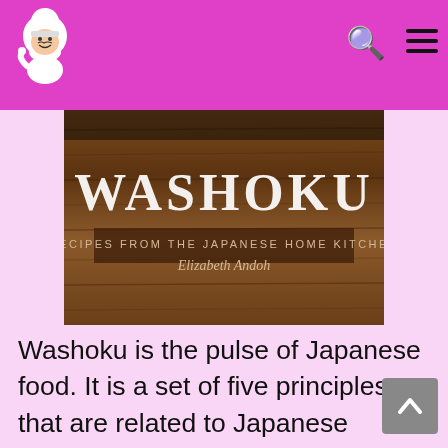Chef logo, search icon, menu icon
[Figure (photo): Book cover for 'WASHOKU: Recipes from the Japanese Home Kitchen' by Elizabeth Andoh, featuring a wooden textured background with large white serif title text.]
Washoku is the pulse of Japanese food. It is a set of five principles that are related to Japanese cuisine. These principles include taste, color, the diner’s senses, ways of preparing food, and the outlook brought by the cooking and the dining experience. This results in meals that are balanced, pleasing, satisfying, and healing in all ways that get deep to the soul. Washoku takes the reader to